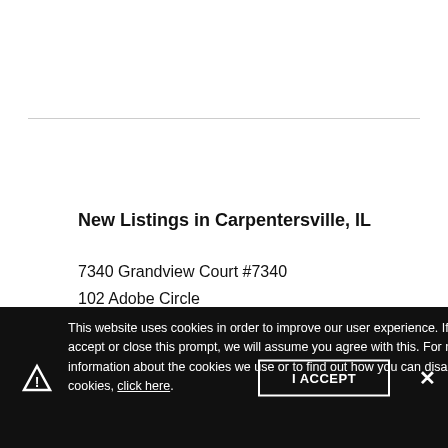New Listings in Carpentersville, IL
7340 Grandview Court #7340
102 Adobe Circle
2031 Orchard Lane #2031
403 N Lord Avenue
This website uses cookies in order to improve our user experience. If you accept or close this prompt, we will assume you agree with this. For more information about the cookies we use or to find out how you can disable cookies, click here.